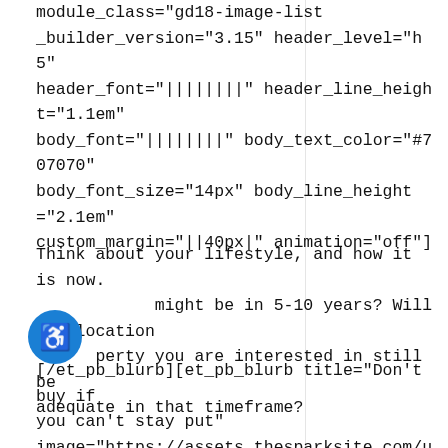module_class="gd18-image-list _builder_version="3.15" header_level="h5" header_font="||||||||" header_line_height="1.1em" body_font="||||||||" body_text_color="#707070" body_font_size="14px" body_line_height="2.1em" custom_margin="||40px|" animation="off"]
Think about your lifestyle, and how it is now. It might be in 5-10 years? Will the location of the property you are interested in still be adequate in that timeframe?
[/et_pb_blurb][et_pb_blurb title="Don't buy if you can't stay put" image="https://assets.thesparksite.com/uploads/site in-home-7things-img4.png" icon_placement="left" image_max_width="65px"